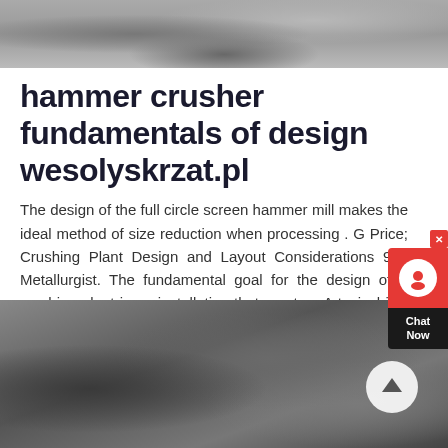[Figure (photo): Top portion of a photograph showing crushed rock/stone rubble material, gray tones]
hammer crusher fundamentals of design wesolyskrzat.pl
The design of the full circle screen hammer mill makes the ideal method of size reduction when processing . G Price; Crushing Plant Design and Layout Considerations 911 Metallurgist. The fundamental goal for the design of a crushing plant is an installation that meets .. A typical jaw crusher plant is shown in Figure 10 and Figure 11 shows a
[Figure (photo): Bottom photograph showing industrial machinery, appears to be crusher equipment with metal components and structural elements in an outdoor setting]